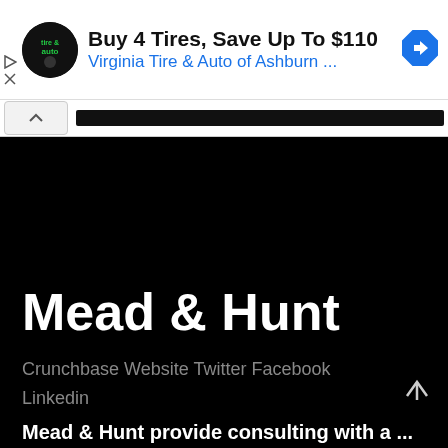[Figure (screenshot): Advertisement banner: circular black logo with 'tire & auto' text in green, ad title 'Buy 4 Tires, Save Up To $110', subtitle 'Virginia Tire & Auto of Ashburn ...', blue diamond arrow icon on right, small play and close icons on left side]
[Figure (screenshot): Web page screenshot showing dark/black background with 'Mead & Hunt' company title in bold white text, followed by gray links: Crunchbase Website Twitter Facebook Linkedin, and a scroll-up arrow icon at bottom right, with partial white bold text cut off at bottom edge]
Mead & Hunt
Crunchbase Website Twitter Facebook Linkedin